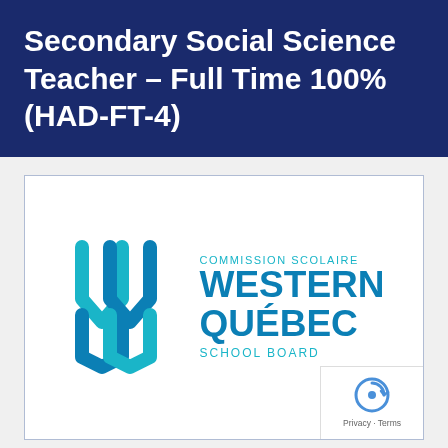Secondary Social Science Teacher – Full Time 100% (HAD-FT-4)
[Figure (logo): Western Québec School Board logo — geometric W mark in teal/blue gradients on left, with text 'COMMISSION SCOLAIRE WESTERN QUÉBEC SCHOOL BOARD' on right in teal and dark blue.]